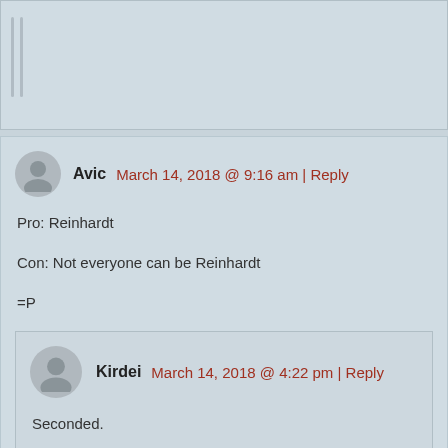[partial comment stub at top]
Avic — March 14, 2018 @ 9:16 am | Reply
Pro: Reinhardt

Con: Not everyone can be Reinhardt

=P
Kirdei — March 14, 2018 @ 4:22 pm | Reply
Seconded.
Oak — March 14, 2018 @ 5:59 pm | Reply
But if you go into arcade, everyone can be reinhardt.